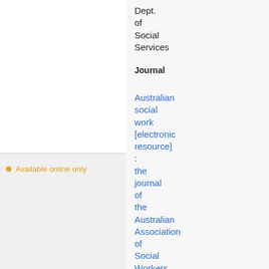Dept. of Social Services
Journal
Available online only
Australian social work [electronic resource] : the journal of the Australian Association of Social Workers
Uniform title: